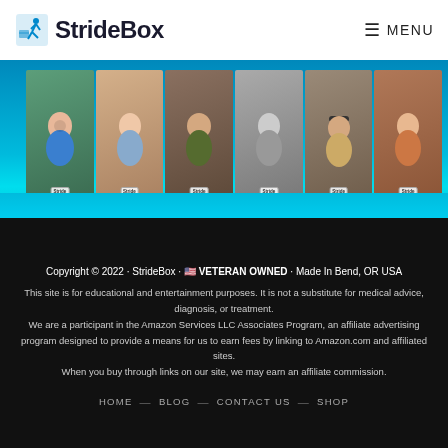StrideBox — MENU
[Figure (photo): Six people holding StrideBox subscription boxes, displayed as a horizontal photo strip with a blue/cyan gradient background.]
Copyright © 2022 · StrideBox · 🇺🇸 VETERAN OWNED · Made In Bend, OR USA
This site is for educational and entertainment purposes. It is not a substitute for medical advice, diagnosis, or treatment.
We are a participant in the Amazon Services LLC Associates Program, an affiliate advertising program designed to provide a means for us to earn fees by linking to Amazon.com and affiliated sites.
When you buy through links on our site, we may earn an affiliate commission.
HOME — BLOG — CONTACT US — SHOP